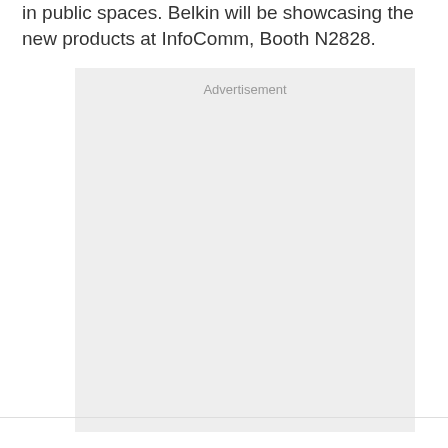in public spaces. Belkin will be showcasing the new products at InfoComm, Booth N2828.
[Figure (other): Advertisement placeholder box with light grey background and 'Advertisement' label at top center]